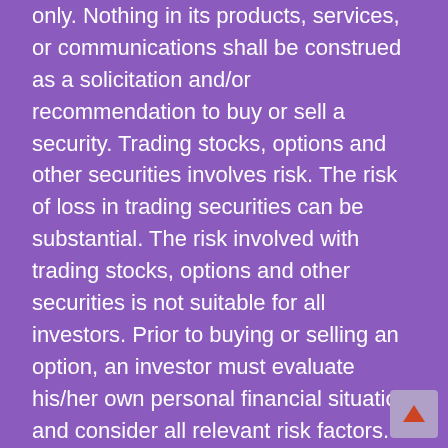only. Nothing in its products, services, or communications shall be construed as a solicitation and/or recommendation to buy or sell a security. Trading stocks, options and other securities involves risk. The risk of loss in trading securities can be substantial. The risk involved with trading stocks, options and other securities is not suitable for all investors. Prior to buying or selling an option, an investor must evaluate his/her own personal financial situation and consider all relevant risk factors. See: Characteristics and Risks of Standardized Options.
The information presented in this site is not intended to be used as the sole basis of any investment decisions, nor should it be construed as advice designed to meet the investment needs of any particular investor. Nothing in our research constitutes legal, accounting or tax advice or individually tailored investment advice. Our research is prepared for general circulation and has been